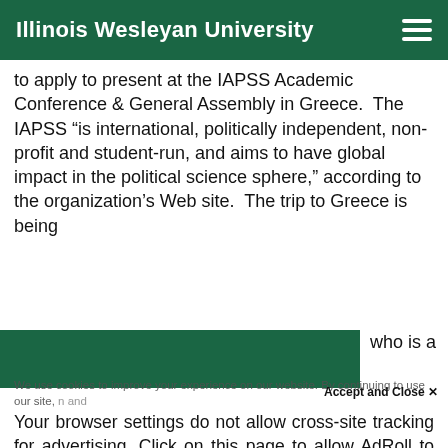Illinois Wesleyan University
to apply to present at the IAPSS Academic Conference & General Assembly in Greece. The IAPSS “is international, politically independent, non-profit and student-run, and aims to have global impact in the political science sphere,” according to the organization’s Web site. The trip to Greece is being [obscured] who is a
We use cookies to improve your experience on our website. By continuing to use our site, [obscured] and
Accept and Close ×
Your browser settings do not allow cross-site tracking for advertising. Click on this page to allow AdRoll to use cross-site tracking to tailor ads to you. Learn more or opt out of this AdRoll tracking by clicking here. This message only appears once.